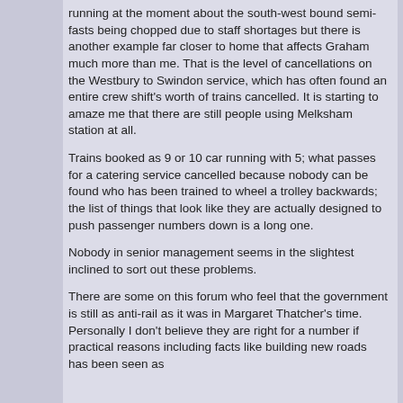running at the moment about the south-west bound semi-fasts being chopped due to staff shortages but there is another example far closer to home that affects Graham much more than me. That is the level of cancellations on the Westbury to Swindon service, which has often found an entire crew shift's worth of trains cancelled. It is starting to amaze me that there are still people using Melksham station at all.
Trains booked as 9 or 10 car running with 5; what passes for a catering service cancelled because nobody can be found who has been trained to wheel a trolley backwards; the list of things that look like they are actually designed to push passenger numbers down is a long one.
Nobody in senior management seems in the slightest inclined to sort out these problems.
There are some on this forum who feel that the government is still as anti-rail as it was in Margaret Thatcher's time. Personally I don't believe they are right for a number if practical reasons including facts like building new roads has been seen as...